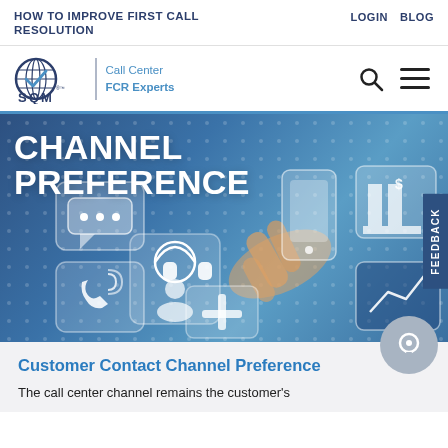HOW TO IMPROVE FIRST CALL RESOLUTION
LOGIN   BLOG
[Figure (logo): SQM Call Center FCR Experts logo with globe graphic]
[Figure (photo): Channel Preference hero image showing a hand pointing at digital channel icons (chat, phone, mobile, building, chart) on a blue background with text CHANNEL PREFERENCE]
Customer Contact Channel Preference
The call center channel remains the customer's